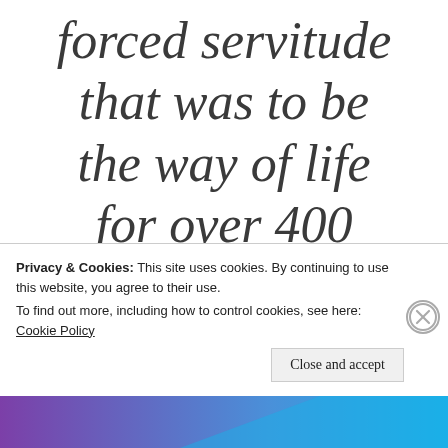forced servitude that was to be the way of life for over 400
Privacy & Cookies: This site uses cookies. By continuing to use this website, you agree to their use. To find out more, including how to control cookies, see here: Cookie Policy
[Figure (other): Cookie banner close button (X in circle) and Close and accept button]
[Figure (other): Bottom decorative bar with purple to blue gradient]